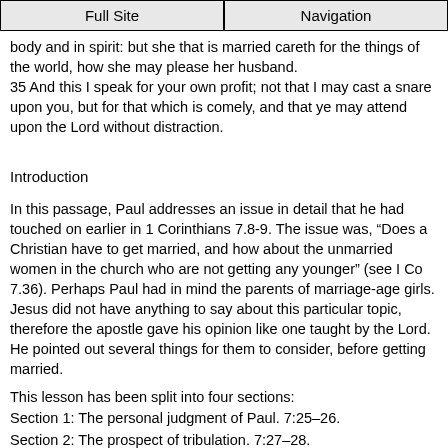Full Site | Navigation
body and in spirit: but she that is married careth for the things of the world, how she may please her husband.
35 And this I speak for your own profit; not that I may cast a snare upon you, but for that which is comely, and that ye may attend upon the Lord without distraction.
Introduction
In this passage, Paul addresses an issue in detail that he had touched on earlier in 1 Corinthians 7.8-9. The issue was, “Does a Christian have to get married, and how about the unmarried women in the church who are not getting any younger” (see I Co 7.36). Perhaps Paul had in mind the parents of marriage-age girls. Jesus did not have anything to say about this particular topic, therefore the apostle gave his opinion like one taught by the Lord. He pointed out several things for them to consider, before getting married.
This lesson has been split into four sections:
Section 1: The personal judgment of Paul. 7:25–26.
Section 2: The prospect of tribulation. 7:27–28.
Section 3: The passing away of worldly fashions. 7:29–31.
Section 4: The problem of divided allegiance. 7:32–35.